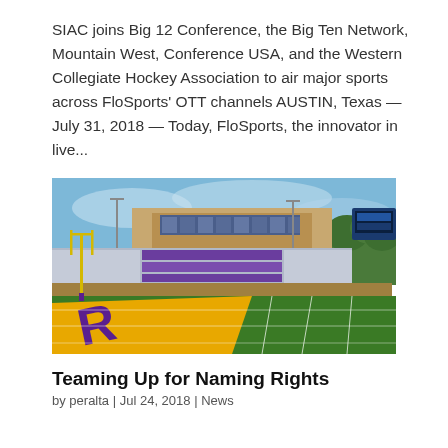SIAC joins Big 12 Conference, the Big Ten Network, Mountain West, Conference USA, and the Western Collegiate Hockey Association to air major sports across FloSports' OTT channels AUSTIN, Texas — July 31, 2018 — Today, FloSports, the innovator in live...
[Figure (photo): A college football stadium with green turf field, gold and purple end zone lettering (partially visible letters appear to be a team name), purple stadium seats, a scoreboard, yellow goal posts, and a clear blue sky.]
Teaming Up for Naming Rights
by peralta | Jul 24, 2018 | News